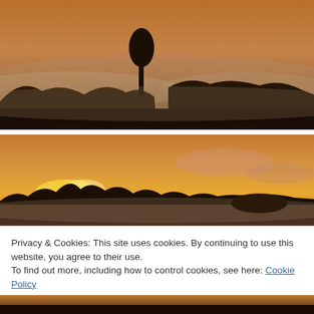[Figure (photo): Landscape photo of a misty sunrise or sunset scene with silhouetted trees and rolling terrain covered in fog, warm amber/brown tones]
[Figure (photo): Landscape photo of a sunset with glowing yellow-gold light breaking through clouds behind a row of silhouetted trees, warm orange sky]
Privacy & Cookies: This site uses cookies. By continuing to use this website, you agree to their use.
To find out more, including how to control cookies, see here: Cookie Policy
Close and accept
[Figure (photo): Bottom portion of another landscape photo partially visible, dark silhouette against warm sky]